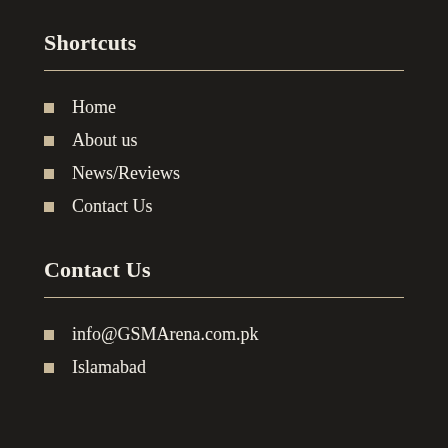Shortcuts
Home
About us
News/Reviews
Contact Us
Contact Us
info@GSMArena.com.pk
Islamabad